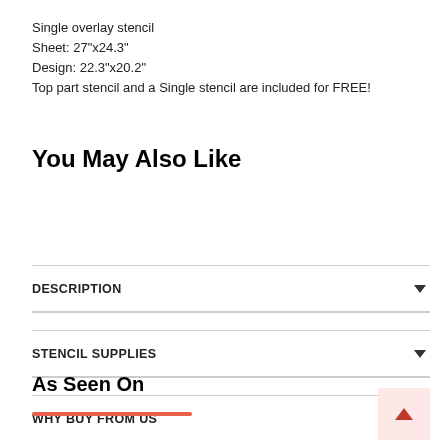Single overlay stencil
Sheet: 27"x24.3"
Design: 22.3"x20.2"
Top part stencil and a Single stencil are included for FREE!
You May Also Like
DESCRIPTION
STENCIL SUPPLIES
WHY BUY FROM US
As Seen On